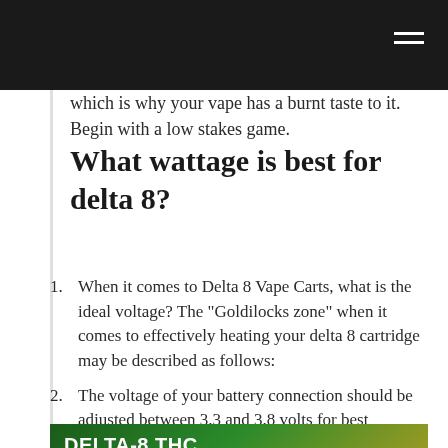which is why your vape has a burnt taste to it. Begin with a low stakes game.
What wattage is best for delta 8?
When it comes to Delta 8 Vape Carts, what is the ideal voltage? The "Goldilocks zone" when it comes to effectively heating your delta 8 cartridge may be described as follows:
The voltage of your battery connection should be adjusted between 3.3 and 3.8 volts for best operation.
[Figure (photo): Photo of Delta-8 THC Cartridges with text overlay: 'DELTA-8 THC CARTRIDGES - BEST WAY TO VAPE']